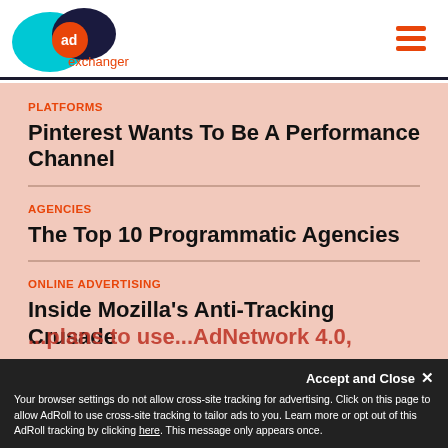[Figure (logo): AdExchanger logo with cyan and dark blue overlapping circles with orange 'ad' text, and 'exchanger' text below]
AdExchanger
PLATFORMS
Pinterest Wants To Be A Performance Channel
AGENCIES
The Top 10 Programmatic Agencies
ONLINE ADVERTISING
Inside Mozilla's Anti-Tracking Crusade
Accept and Close ✕
Your browser settings do not allow cross-site tracking for advertising. Click on this page to allow AdRoll to use cross-site tracking to tailor ads to you. Learn more or opt out of this AdRoll tracking by clicking here. This message only appears once.